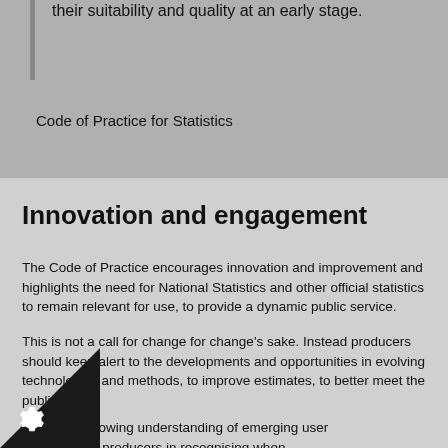their suitability and quality at an early stage.
Code of Practice for Statistics
Innovation and engagement
The Code of Practice encourages innovation and improvement and highlights the need for National Statistics and other official statistics to remain relevant for use, to provide a dynamic public service.
This is not a call for change for change's sake. Instead producers should keep alert to the developments and opportunities in evolving technologies and methods, to improve estimates, to better meet the public good.
…uires a growing understanding of emerging user …o support producers in recognising when